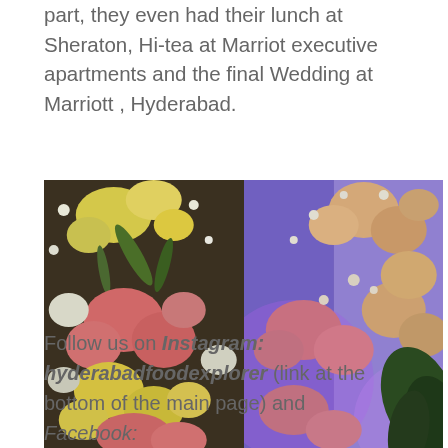part, they even had their lunch at Sheraton, Hi-tea at Marriot executive apartments and the final Wedding at Marriott , Hyderabad.
[Figure (photo): Two side-by-side close-up photographs of flower arrangements. Left photo shows yellow, white, and pink/coral flowers including roses, carnations, and baby's breath against a dark background. Right photo shows peach/cream roses, pink carnations, and baby's breath against a purple/blue lit background with a dark green ribbon.]
Follow us on Instagram: hyderabadfoodexplorer (link at the bottom of the main page) and Facebook: